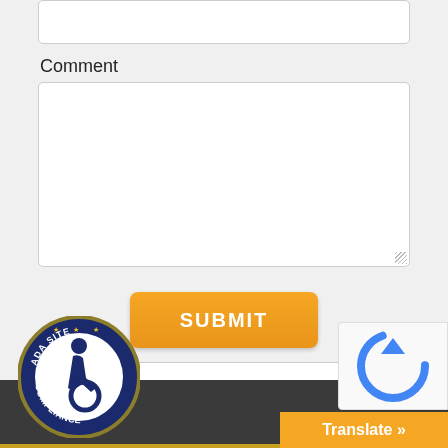Comment
[Figure (screenshot): Web form with Comment label, large textarea input box, orange SUBMIT button, and an Enter Listing ID(s) search field with a Go button]
[Figure (logo): ADA Site Compliance circular badge with wheelchair accessibility icon]
[Figure (screenshot): Partial reCAPTCHA widget showing blue circular arrow icon]
Translate »